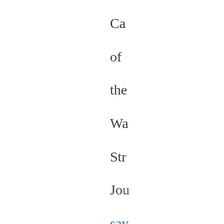Ca of the Wa Str Jo say tha the nu is $3i bil and Ni Bil of the N...